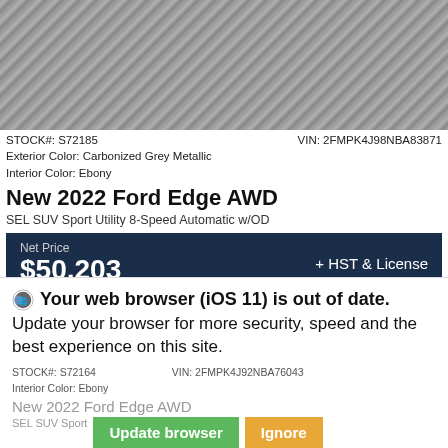[Figure (photo): Partial view of a car (Ford Edge) shot from above on a grey surface, mostly showing roof and rear area]
STOCK#: S72185    VIN: 2FMPK4J98NBA83871
Exterior Color: Carbonized Grey Metallic
Interior Color: Ebony
New 2022 Ford Edge AWD
SEL SUV Sport Utility 8-Speed Automatic w/OD
| Net Price | $50,203 | + HST & License |
| Lease for Only | $715 per month* | Finance | 3.99% APR per month* |
Request Information
Build My Deal
Your web browser (iOS 11) is out of date. Update your browser for more security, speed and the best experience on this site.
STOCK#: S72164    VIN: 2FMPK4J92NBA76043
Interior Color: Ebony
New 2022 Ford Edge AWD
SEL SUV Sport Utility...
Update browser
Ignore